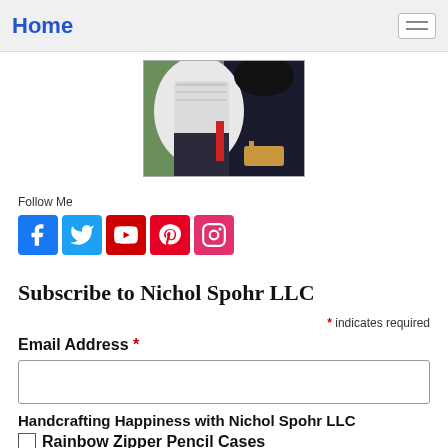Home
[Figure (photo): Partial view of a person sitting on grass, wearing a white lace top and dark pants with sandals.]
Follow Me
[Figure (infographic): Social media icons: Facebook, Twitter, YouTube, Pinterest, Instagram]
Subscribe to Nichol Spohr LLC
* indicates required
Email Address *
Handcrafting Happiness with Nichol Spohr LLC
Rainbow Zipper Pencil Cases